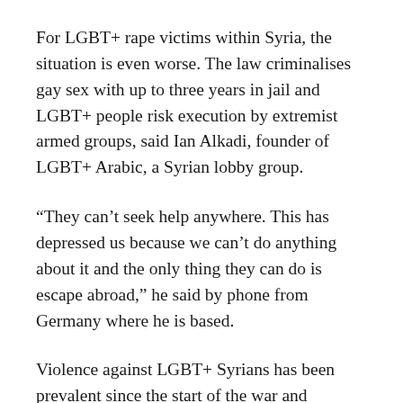For LGBT+ rape victims within Syria, the situation is even worse. The law criminalises gay sex with up to three years in jail and LGBT+ people risk execution by extremist armed groups, said Ian Alkadi, founder of LGBT+ Arabic, a Syrian lobby group.
“They can’t seek help anywhere. This has depressed us because we can’t do anything about it and the only thing they can do is escape abroad,” he said by phone from Germany where he is based.
Violence against LGBT+ Syrians has been prevalent since the start of the war and refugees who have experienced extreme forms of abuse need specialised